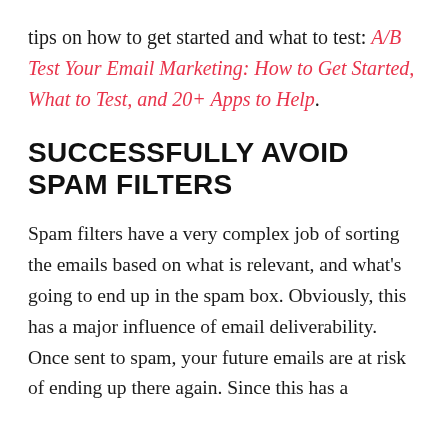tips on how to get started and what to test: A/B Test Your Email Marketing: How to Get Started, What to Test, and 20+ Apps to Help.
SUCCESSFULLY AVOID SPAM FILTERS
Spam filters have a very complex job of sorting the emails based on what is relevant, and what's going to end up in the spam box. Obviously, this has a major influence of email deliverability. Once sent to spam, your future emails are at risk of ending up there again. Since this has a